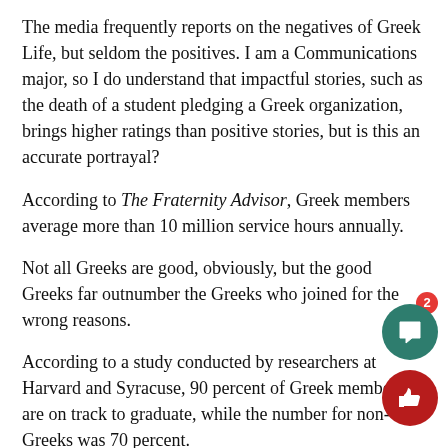The media frequently reports on the negatives of Greek Life, but seldom the positives. I am a Communications major, so I do understand that impactful stories, such as the death of a student pledging a Greek organization, brings higher ratings than positive stories, but is this an accurate portrayal?
According to The Fraternity Advisor, Greek members average more than 10 million service hours annually.
Not all Greeks are good, obviously, but the good Greeks far outnumber the Greeks who joined for the wrong reasons.
According to a study conducted by researchers at Harvard and Syracuse, 90 percent of Greek members are on track to graduate, while the number for non-Greeks was 70 percent.
Another aspect of Greek Life that is often under-reported is fundrai... The Phi Delta Kappa chapter here at SFU raised more than $10,000 for the Make-a-Wish Foundation in a single year.
If all Greek organizations just haze and party, then how is it that the...